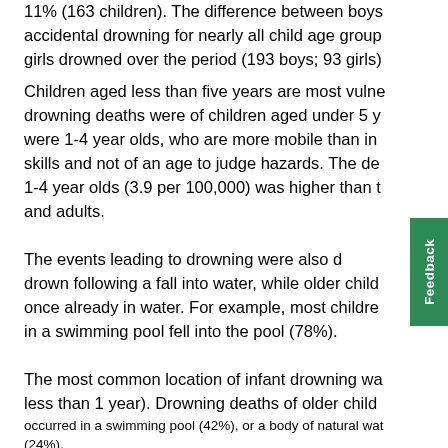11% (163 children). The difference between boys and girls in accidental drowning for nearly all child age groups meant more boys than girls drowned over the period (193 boys; 93 girls).
Children aged less than five years are most vulnerable. 40% of drowning deaths were of children aged under 5 years. Most of these were 1-4 year olds, who are more mobile than infants, lack swimming skills and not of an age to judge hazards. The death rate among 1-4 year olds (3.9 per 100,000) was higher than that of older children and adults.
The events leading to drowning were also different. Infants often drown following a fall into water, while older children tend to drown once already in water. For example, most children who drowned in a swimming pool fell into the pool (78%).
The most common location of infant drowning was a bathtub (aged less than 1 year). Drowning deaths of older children most commonly occurred in a swimming pool (42%), or a body of natural water (24%).